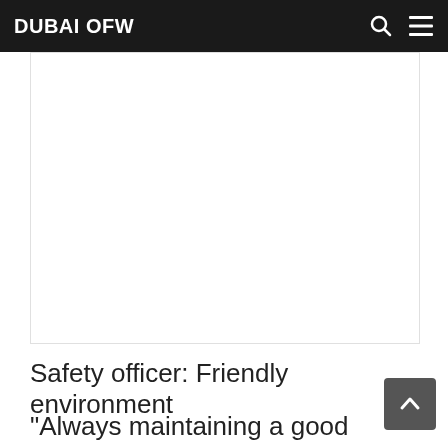DUBAI OFW
[Figure (other): Advertisement placeholder area, white rectangle with border]
Safety officer: Friendly environment
“Always maintaining a good safety culture